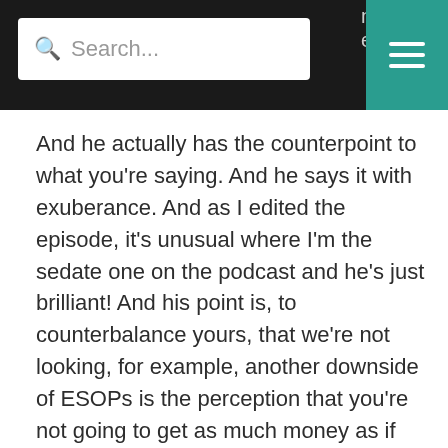[Figure (screenshot): Website navigation header with a search bar on the left showing a teal search icon and placeholder text 'Search...', partial letters on the right side, and a teal hamburger menu button in the top-right corner, all on a dark/black background.]
And he actually has the counterpoint to what you're saying. And he says it with exuberance. And as I edited the episode, it's unusual where I'm the sedate one on the podcast and he's just brilliant! And his point is, to counterbalance yours, that we're not looking, for example, another downside of ESOPs is the perception that you're not going to get as much money as if you sold them privately. And his point is, you're not looking at the tax benefits. And he said, you've got to do the 1042s. And if that, and with great exuberance, that it's